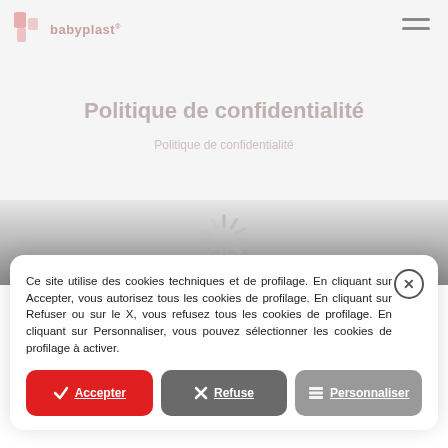[Figure (logo): Babyplast logo with stylized icon and brand name text]
[Figure (screenshot): Website background showing page title Politique de confidentialité with loading spinner overlay]
Ce site utilise des cookies techniques et de profilage. En cliquant sur Accepter, vous autorisez tous les cookies de profilage. En cliquant sur Refuser ou sur le X, vous refusez tous les cookies de profilage. En cliquant sur Personnaliser, vous pouvez sélectionner les cookies de profilage à activer.
✓ Accepter
✕ Refuse
≡ Personnaliser